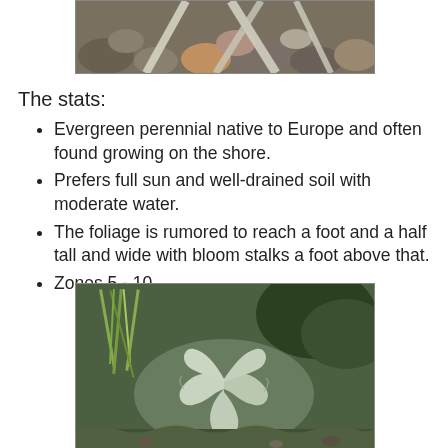[Figure (photo): Close-up photo of plant stems or roots among rocks/pebbles, partial view at top of page]
The stats:
Evergreen perennial native to Europe and often found growing on the shore.
Prefers full sun and well-drained soil with moderate water.
The foliage is rumored to reach a foot and a half tall and wide with bloom stalks a foot above that.
Zones 5 - 10
[Figure (photo): Photo of a silvery-blue thistle-like plant with lobed leaves growing among other green plants in a garden setting]